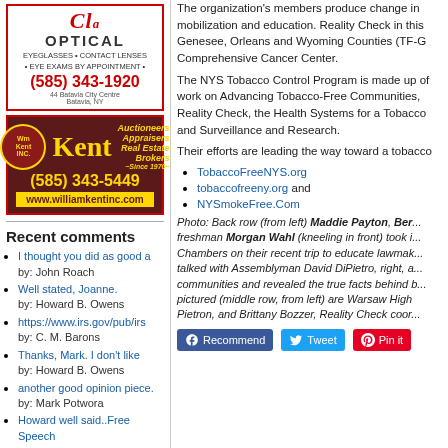[Figure (illustration): Clark Optical advertisement with red border. Logo shows cursive 'Cl...' text, 'OPTICAL' in caps, tagline 'EYEGLASSES • CONTACT LENSES • EYE EXAMS BY APPOINTMENT •', phone number (585) 343-1920, address 44 Batavia City Centre, Batavia, NY]
[Figure (illustration): William Kent Inc. advertisement with dark red/maroon background. Shows Kent logo with gold text, services: Auctioneers, Appraisers, Real Estate Brokers, Since 1970, phone (585) 343-5449, website www.williamkentinc.com]
Recent comments
I thought you did as good a
by: John Roach
Well stated, Joanne.
by: Howard B. Owens
https://www.irs.gov/pub/irs
by: C. M. Barons
Thanks, Mark. I don't like
by: Howard B. Owens
another good opinion piece.
by: Mark Potwora
Howard well said..Free Speech
by: Mark Potwora
Ed Dejanerio, for years you
by: John Roach
As reported the Batavia City
by: Ed Dejaneiro
The organization's members produce change in mobilization and education. Reality Check in this Genesee, Orleans and Wyoming Counties (TF-G Comprehensive Cancer Center.
The NYS Tobacco Control Program is made up of work on Advancing Tobacco-Free Communities, Reality Check, the Health Systems for a Tobacco and Surveillance and Research.
Their efforts are leading the way toward a tobacco
TobaccoFreeNYS.org
tobaccofreeny.org and
NYSmokeFree.Com
Photo: Back row (from left) Maddie Payton, Ber... freshman Morgan Wahl (kneeling in front) took i... Chambers on their recent trip to educate lawmak... talked with Assemblyman David DiPietro, right, a... communities and revealed the true facts behind b... pictured (middle row, from left) are Warsaw High Pietron, and Brittany Bozzer, Reality Check coor...
Recommend   Tweet   Pin it